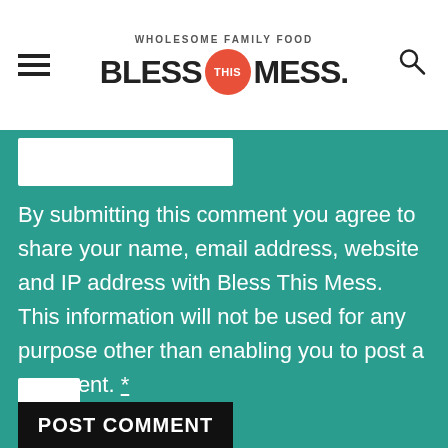[Figure (logo): Bless This Mess logo with tagline 'Wholesome Family Food', hamburger menu icon on left, search icon on right]
By submitting this comment you agree to share your name, email address, website and IP address with Bless This Mess. This information will not be used for any purpose other than enabling you to post a comment. *